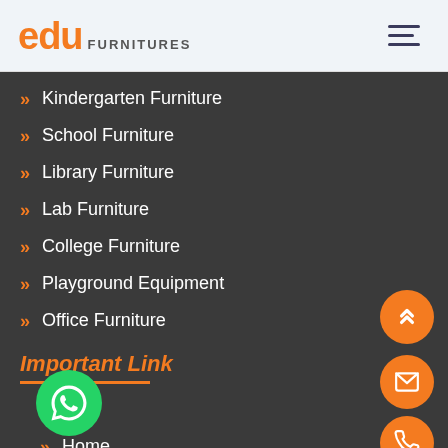edu FURNITURES
» Kindergarten Furniture
» School Furniture
» Library Furniture
» Lab Furniture
» College Furniture
» Playground Equipment
» Office Furniture
Important Link
» Home
» About Us